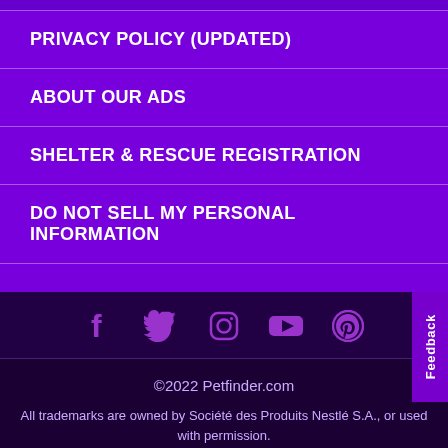PRIVACY POLICY (UPDATED)
ABOUT OUR ADS
SHELTER & RESCUE REGISTRATION
DO NOT SELL MY PERSONAL INFORMATION
[Figure (infographic): Social media icons row: Facebook, Twitter, Instagram, YouTube, Pinterest]
©2022 Petfinder.com
All trademarks are owned by Société des Produits Nestlé S.A., or used with permission.